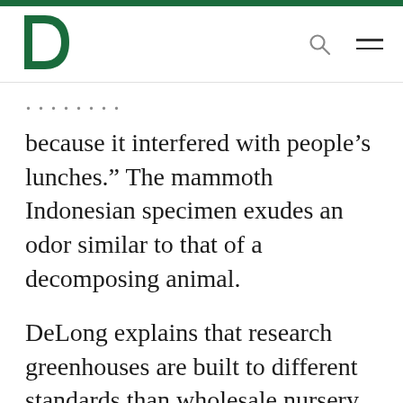[Figure (logo): Dartmouth College green D logo with pine tree]
because it interfered with people’s lunches.” The mammoth Indonesian specimen exudes an odor similar to that of a decomposing animal.
DeLong explains that research greenhouses are built to different standards than wholesale nursery greenhouses. “We need to be able to control the intensity and duration of light